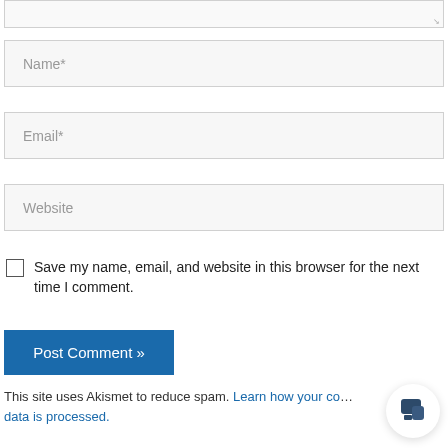[Figure (screenshot): Partial textarea input box with resize handle at bottom-right corner]
Name*
Email*
Website
Save my name, email, and website in this browser for the next time I comment.
Post Comment »
This site uses Akismet to reduce spam. Learn how your comment data is processed.